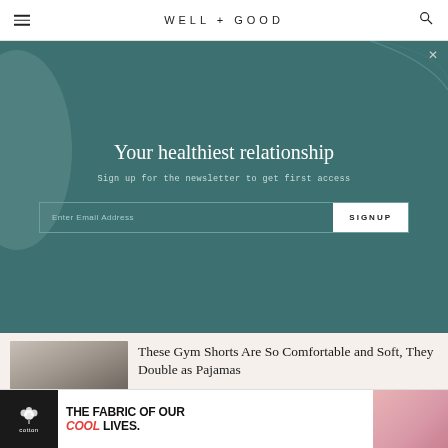WELL+GOOD
Your healthiest relationship
Sign up for the newsletter to get first access
Enter Email Address  SIGNUP
These Gym Shorts Are So Comfortable and Soft, They Double as Pajamas
[Figure (photo): Person wearing gym shorts with a watch, holding gym bag]
Lezé the Label's Newest Launch Feels Like Your Sleepover PJs All Grown
[Figure (photo): Leze the Label clothing product images]
[Figure (infographic): Cotton Inc advertisement: THE FABRIC OF OUR COOL LIVES.]